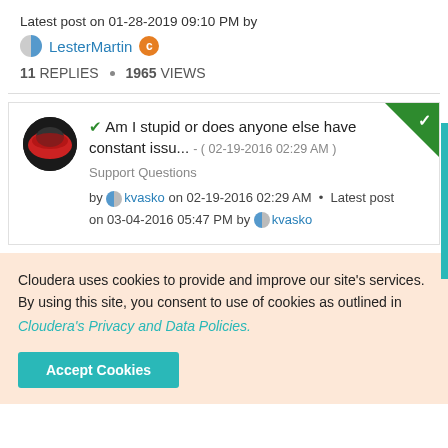Latest post on 01-28-2019 09:10 PM by
LesterMartin
11 REPLIES • 1965 VIEWS
✔ Am I stupid or does anyone else have constant issu... - ( 02-19-2016 02:29 AM )
Support Questions
by kvasko on 02-19-2016 02:29 AM • Latest post on 03-04-2016 05:47 PM by kvasko
Cloudera uses cookies to provide and improve our site's services. By using this site, you consent to use of cookies as outlined in Cloudera's Privacy and Data Policies.
Accept Cookies